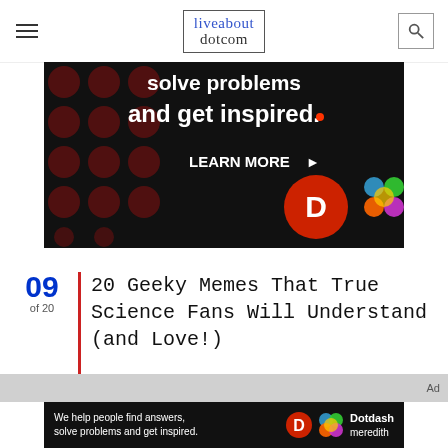liveabout dotcom
[Figure (photo): Dark advertisement banner with red polka dots reading 'solve problems and get inspired.' with LEARN MORE button and Dotdash Meredith logos]
09 of 20
20 Geeky Memes That True Science Fans Will Understand (and Love!)
[Figure (photo): Gray ad bar labeled Ad, followed by Dotdash Meredith bottom advertisement banner reading 'We help people find answers, solve problems and get inspired.']